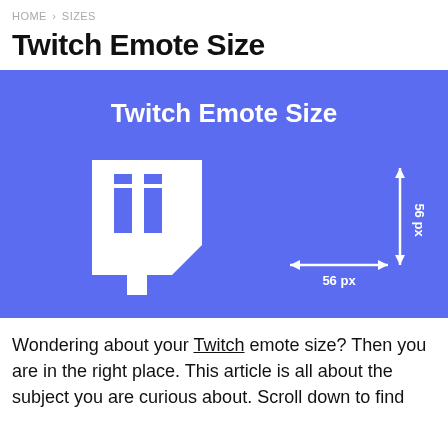HOME > SIZES
Twitch Emote Size
[Figure (illustration): Blue rectangle with white 'Twitch Emote Size' heading, white Twitch logo icon on the left, and dimension arrows showing 56 px width and 56 px height on the right.]
Wondering about your Twitch emote size? Then you are in the right place. This article is all about the subject you are curious about. Scroll down to find